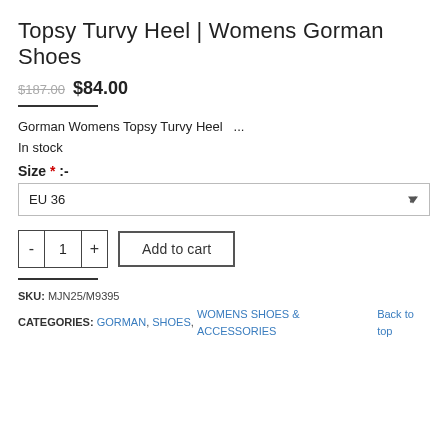Topsy Turvy Heel | Womens Gorman Shoes
$187.00 $84.00
Gorman Womens Topsy Turvy Heel  ...
In stock
Size * :-
EU 36
- 1 + Add to cart
SKU: MJN25/M9395
CATEGORIES: GORMAN, SHOES, WOMENS SHOES & ACCESSORIES